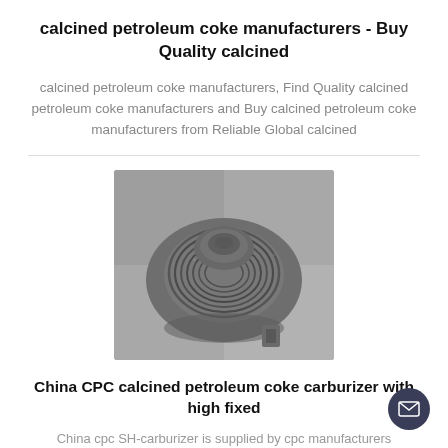calcined petroleum coke manufacturers - Buy Quality calcined
calcined petroleum coke manufacturers, Find Quality calcined petroleum coke manufacturers and Buy calcined petroleum coke manufacturers from Reliable Global calcined
[Figure (photo): Photo of a China CPC calcined petroleum coke carburizer product — a dark grey industrial carbon component with a conical/threaded shape, viewed from above at an angle against a grey background.]
China CPC calcined petroleum coke carburizer with high fixed
China cpc SH-carburizer is supplied by cpc manufacturers producers, suppliers on Global Sources